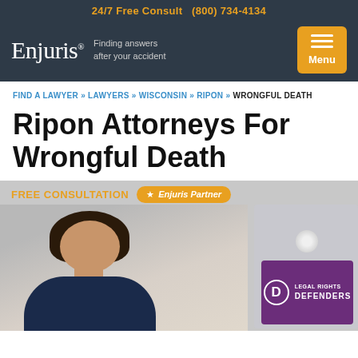24/7 Free Consult  (800) 734-4134
[Figure (logo): Enjuris logo with tagline 'Finding answers after your accident' and hamburger menu button labeled Menu]
FIND A LAWYER » LAWYERS » WISCONSIN » RIPON » WRONGFUL DEATH
Ripon Attorneys For Wrongful Death
[Figure (photo): Photo of a smiling female attorney in a dark blazer with FREE CONSULTATION text overlay, Enjuris Partner badge, and Legal Rights Defenders firm card overlay on right side]